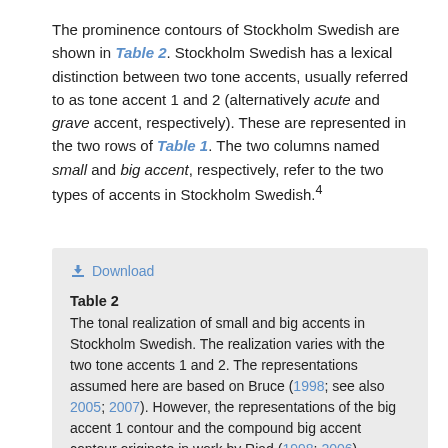The prominence contours of Stockholm Swedish are shown in Table 2. Stockholm Swedish has a lexical distinction between two tone accents, usually referred to as tone accent 1 and 2 (alternatively acute and grave accent, respectively). These are represented in the two rows of Table 1. The two columns named small and big accent, respectively, refer to the two types of accents in Stockholm Swedish.4
↓ Download
Table 2
The tonal realization of small and big accents in Stockholm Swedish. The realization varies with the two tone accents 1 and 2. The representations assumed here are based on Bruce (1998; see also 2005; 2007). However, the representations of the big accent 1 contour and the compound big accent contour originate in work by Riad (1998; 2006).